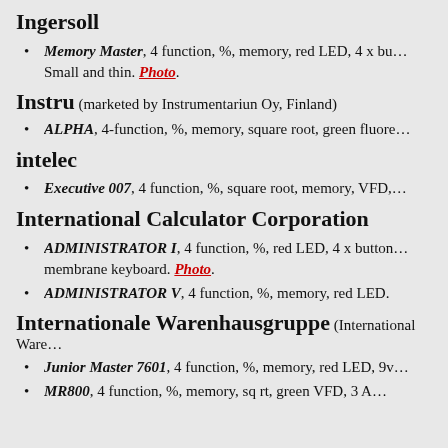Ingersoll
Memory Master, 4 function, %, memory, red LED, 4 x bu... Small and thin. Photo.
Instru (marketed by Instrumentariun Oy, Finland)
ALPHA, 4-function, %, memory, square root, green fluore...
intelec
Executive 007, 4 function, %, square root, memory, VFD,...
International Calculator Corporation
ADMINISTRATOR I, 4 function, %, red LED, 4 x button... membrane keyboard. Photo.
ADMINISTRATOR V, 4 function, %, memory, red LED.
Internationale Warenhausgruppe (International Ware...)
Junior Master 7601, 4 function, %, memory, red LED, 9v...
MR800, 4 function, %, memory, sq rt, green VFD, 3 A...